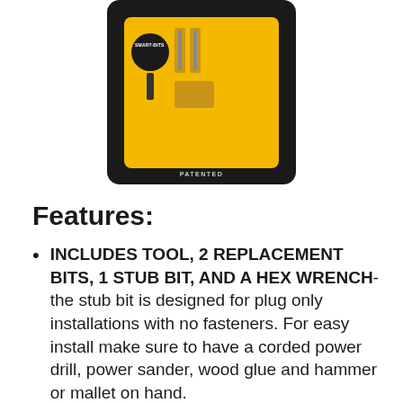[Figure (photo): Product photo of Smart-Bits tool set in yellow packaging on black background, with text PATENTED at bottom]
Features:
INCLUDES TOOL, 2 REPLACEMENT BITS, 1 STUB BIT, AND A HEX WRENCH- the stub bit is designed for plug only installations with no fasteners. For easy install make sure to have a corded power drill, power sander, wood glue and hammer or mallet on hand.
PRE-DRILLS AND COUNTERBORES